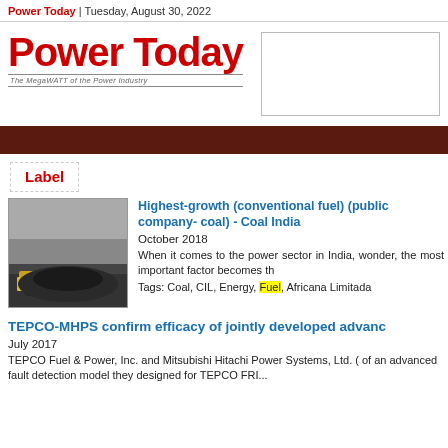Power Today | Tuesday, August 30, 2022
[Figure (logo): Power Today logo with tagline 'The MegaWATT of the Power Industry']
[Figure (other): Advertisement box (blank/white)]
Label
[Figure (photo): Coal mining site with excavator and trucks]
Highest-growth (conventional fuel) (public company- coal) - Coal India
October 2018
When it comes to the power sector in India, wonder, the most important factor becomes th
Tags: Coal, CIL, Energy, Fuel, Africana Limitada
TEPCO-MHPS confirm efficacy of jointly developed advanc
July 2017
TEPCO Fuel & Power, Inc. and Mitsubishi Hitachi Power Systems, Ltd. of an advanced fault detection model they designed for TEPCO FRI...